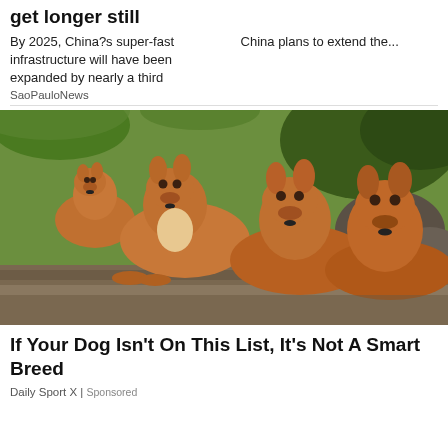get longer still
By 2025, China?s super-fast infrastructure will have been expanded by nearly a third
China plans to extend the...
SaoPauloNews
[Figure (photo): Three dingoes or wild dogs lying together on a stone surface with green foliage and rocks in the background]
If Your Dog Isn't On This List, It's Not A Smart Breed
Daily Sport X | Sponsored